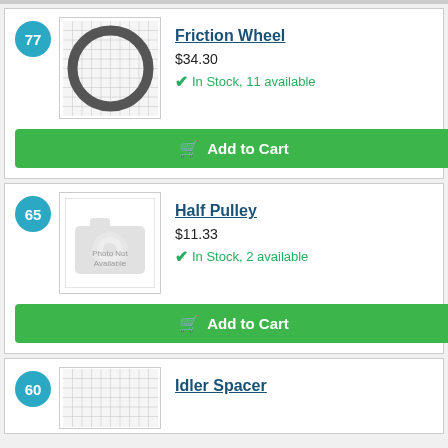[Figure (photo): Friction wheel ring part image with grid background]
Friction Wheel
$34.30
In Stock, 11 available
[Figure (other): Add to Cart button for Friction Wheel]
[Figure (photo): Half Pulley - Photo Not Available placeholder]
Half Pulley
$11.33
In Stock, 2 available
[Figure (other): Add to Cart button for Half Pulley]
[Figure (photo): Idler Spacer part image with grid background]
Idler Spacer